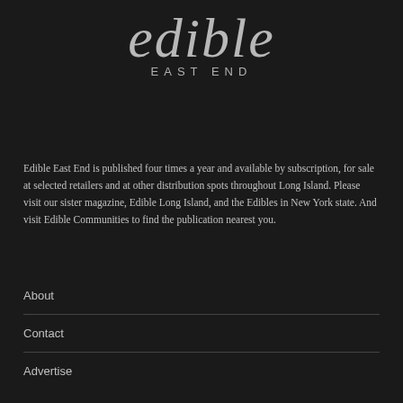edible EAST END
Edible East End is published four times a year and available by subscription, for sale at selected retailers and at other distribution spots throughout Long Island. Please visit our sister magazine, Edible Long Island, and the Edibles in New York state. And visit Edible Communities to find the publication nearest you.
About
Contact
Advertise